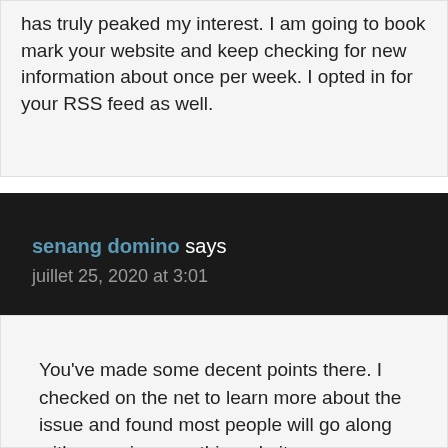has truly peaked my interest. I am going to book mark your website and keep checking for new information about once per week. I opted in for your RSS feed as well.
senang domino says
juillet 25, 2020 at 3:01
You've made some decent points there. I checked on the net to learn more about the issue and found most people will go along with your views on this website.